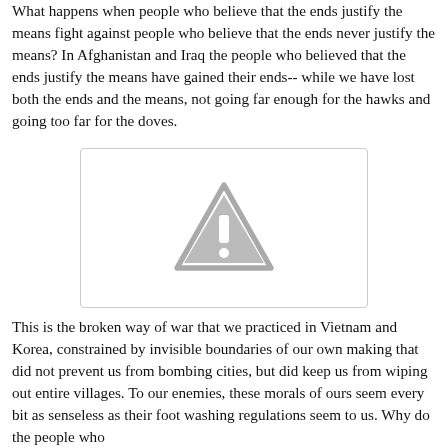What happens when people who believe that the ends justify the means fight against people who believe that the ends never justify the means? In Afghanistan and Iraq the people who believed that the ends justify the means have gained their ends-- while we have lost both the ends and the means, not going far enough for the hawks and going too far for the doves.
[Figure (other): Placeholder image box with a warning/caution triangle icon centered inside a bordered rectangle]
This is the broken way of war that we practiced in Vietnam and Korea, constrained by invisible boundaries of our own making that did not prevent us from bombing cities, but did keep us from wiping out entire villages. To our enemies, these morals of ours seem every bit as senseless as their foot washing regulations seem to us. Why do the people who bombed Pearl harbor let their women use Maidian and...